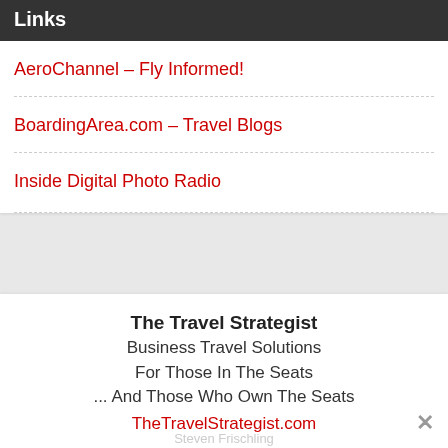Links
AeroChannel – Fly Informed!
BoardingArea.com – Travel Blogs
Inside Digital Photo Radio
The Travel Strategist
Business Travel Solutions
For Those In The Seats
... And Those Who Own The Seats
TheTravelStrategist.com